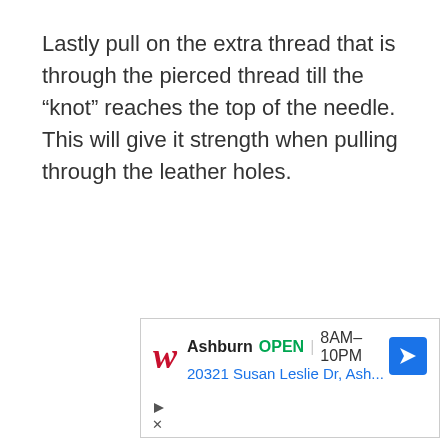Lastly pull on the extra thread that is through the pierced thread till the “knot” reaches the top of the needle. This will give it strength when pulling through the leather holes.
[Figure (other): Advertisement for Walgreens pharmacy showing location in Ashburn, OPEN 8AM-10PM, address 20321 Susan Leslie Dr, Ash..., with Walgreens logo and navigation icon]